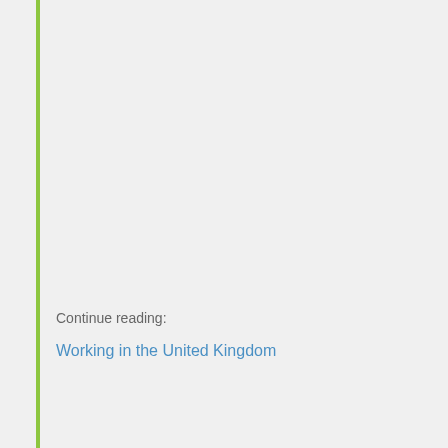Continue reading:
Working in the United Kingdom